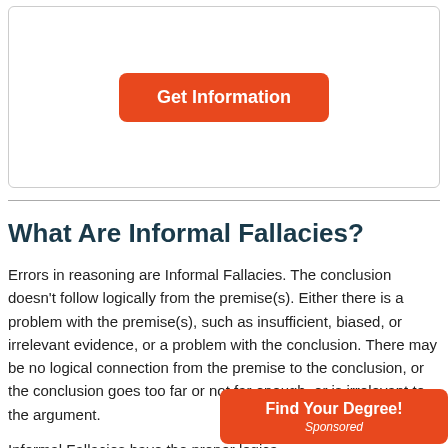[Figure (other): A card/box area with an orange 'Get Information' button centered within it]
What Are Informal Fallacies?
Errors in reasoning are Informal Fallacies. The conclusion doesn't follow logically from the premise(s). Either there is a problem with the premise(s), such as insufficient, biased, or irrelevant evidence, or a problem with the conclusion. There may be no logical connection from the premise to the conclusion, or the conclusion goes too far or not far enough, or is irrelevant to the argument.
Informal Fallacies have the proper logica but are fallacious by making an argument where the
[Figure (other): Orange sponsored badge in the bottom-right corner reading 'Find Your Degree!' with 'Sponsored' below it]